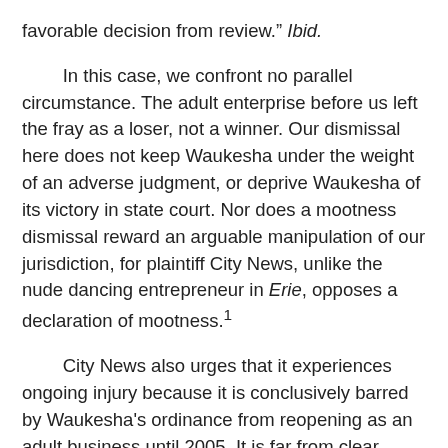favorable decision from review." Ibid.
In this case, we confront no parallel circumstance. The adult enterprise before us left the fray as a loser, not a winner. Our dismissal here does not keep Waukesha under the weight of an adverse judgment, or deprive Waukesha of its victory in state court. Nor does a mootness dismissal reward an arguable manipulation of our jurisdiction, for plaintiff City News, unlike the nude dancing entrepreneur in Erie, opposes a declaration of mootness.¹
City News also urges that it experiences ongoing injury because it is conclusively barred by Waukesha's ordinance from reopening as an adult business until 2005. It is far from clear, however, whether City News actually suffers that disability.² And as our prior discussion suggests, supra, at 4, a live controversy is not maintained by speculation that City News might be temporarily disabled from reentering a